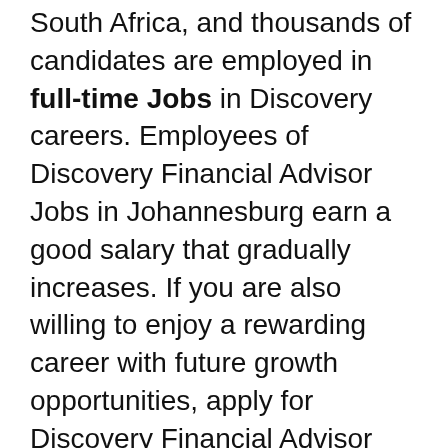South Africa, and thousands of candidates are employed in full-time Jobs in Discovery careers. Employees of Discovery Financial Advisor Jobs in Johannesburg earn a good salary that gradually increases. If you are also willing to enjoy a rewarding career with future growth opportunities, apply for Discovery Financial Advisor careers. Freshers are invited to apply for Discovery Financial Advisor vacancies in Johannesburg.